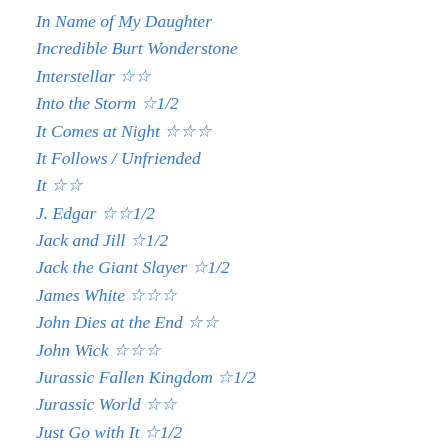In Name of My Daughter
Incredible Burt Wonderstone
Interstellar ☆☆
Into the Storm ☆1/2
It Comes at Night ☆☆☆
It Follows / Unfriended
It ☆☆
J. Edgar ☆☆1/2
Jack and Jill ☆1/2
Jack the Giant Slayer ☆1/2
James White ☆☆☆
John Dies at the End ☆☆
John Wick ☆☆☆
Jurassic Fallen Kingdom ☆1/2
Jurassic World ☆☆
Just Go with It ☆1/2
Kaboom ☆☆1/2
Knives Out ☆☆
Kong: Skull Island ☆☆☆1/2
La La Land ☆☆☆1/2